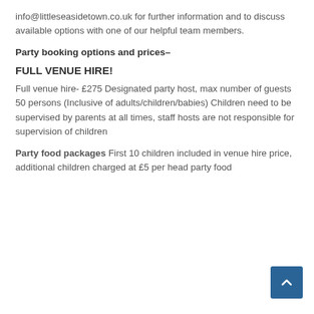info@littleseasidetown.co.uk for further information and to discuss available options with one of our helpful team members.
Party booking options and prices–
FULL VENUE HIRE!
Full venue hire- £275 Designated party host, max number of guests 50 persons (Inclusive of adults/children/babies) Children need to be supervised by parents at all times, staff hosts are not responsible for supervision of children
Party food packages First 10 children included in venue hire price, additional children charged at £5 per head party food